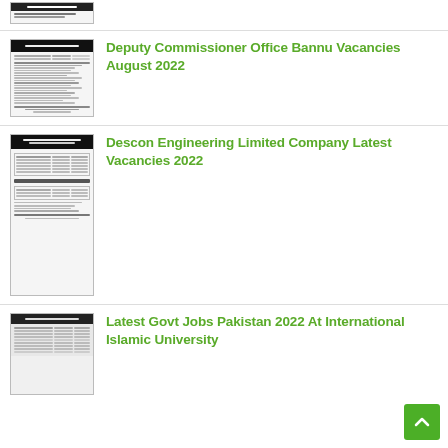[Figure (screenshot): Partial thumbnail of a job posting document in Urdu, top of page]
[Figure (screenshot): Thumbnail of Deputy Commissioner Office Bannu Vacancies August 2022 Urdu job advertisement document]
Deputy Commissioner Office Bannu Vacancies August 2022
[Figure (screenshot): Thumbnail of Descon Engineering Limited Company Latest Vacancies 2022 job advertisement document]
Descon Engineering Limited Company Latest Vacancies 2022
[Figure (screenshot): Thumbnail of Latest Govt Jobs Pakistan 2022 At International Islamic University document]
Latest Govt Jobs Pakistan 2022 At International Islamic University